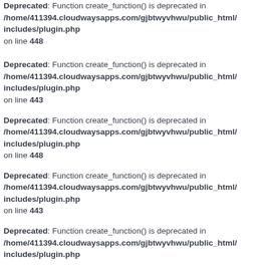Deprecated: Function create_function() is deprecated in /home/411394.cloudwaysapps.com/gjbtwyvhwu/public_html/includes/plugin.php on line 448
Deprecated: Function create_function() is deprecated in /home/411394.cloudwaysapps.com/gjbtwyvhwu/public_html/includes/plugin.php on line 443
Deprecated: Function create_function() is deprecated in /home/411394.cloudwaysapps.com/gjbtwyvhwu/public_html/includes/plugin.php on line 448
Deprecated: Function create_function() is deprecated in /home/411394.cloudwaysapps.com/gjbtwyvhwu/public_html/includes/plugin.php on line 443
Deprecated: Function create_function() is deprecated in /home/411394.cloudwaysapps.com/gjbtwyvhwu/public_html/includes/plugin.php